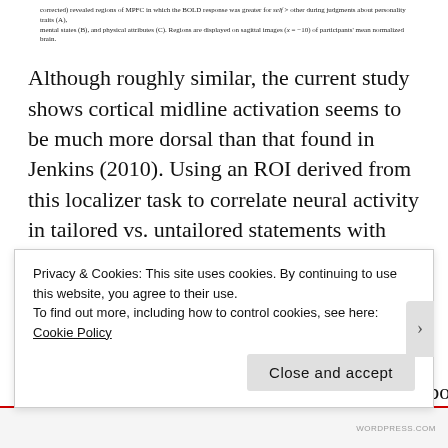corrected) revealed regions of MPFC in which the BOLD response was greater for self > other during judgments about personality traits (A), mental states (B), and physical attributes (C). Regions are displayed on sagittal images (x = −10) of participants' mean normalized brain.
Although roughly similar, the current study shows cortical midline activation seems to be much more dorsal than that found in Jenkins (2010). Using an ROI derived from this localizer task to correlate neural activity in tailored vs. untailored statements with quitting led to a non-significant result (from supplementary materials). This could explain why the researchers used the composite mask to define the ROI.
…